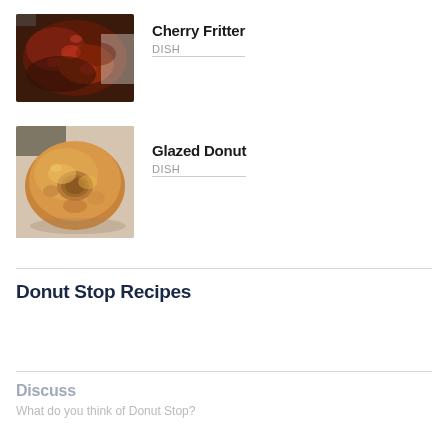[Figure (photo): Photo of a Cherry Fritter dish - dark reddish-brown glazed pastry on a white background]
Cherry Fritter
DISH
[Figure (photo): Photo of a Glazed Donut - golden brown classic ring donut on a paper surface]
Glazed Donut
DISH
Donut Stop Recipes
Discuss
What do you think of Donut Stop?